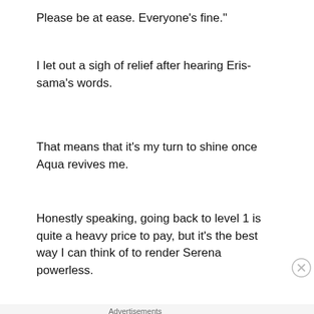Please be at ease. Everyone’s fine.”
I let out a sigh of relief after hearing Eris-sama’s words.
That means that it’s my turn to shine once Aqua revives me.
Honestly speaking, going back to level 1 is quite a heavy price to pay, but it’s the best way I can think of to render Serena powerless.
[Figure (screenshot): WordPress VIP advertisement banner with orange/purple gradient and Learn more button]
[Figure (screenshot): Bloomingdale's advertisement banner with model in hat and SHOP NOW button]